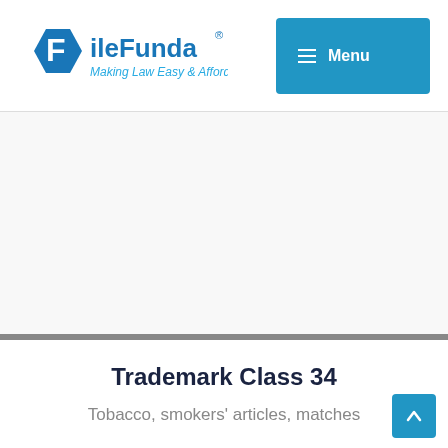FileFunda - Making Law Easy & Affordable | Menu
Trademark Class 34
Tobacco, smokers' articles, matches